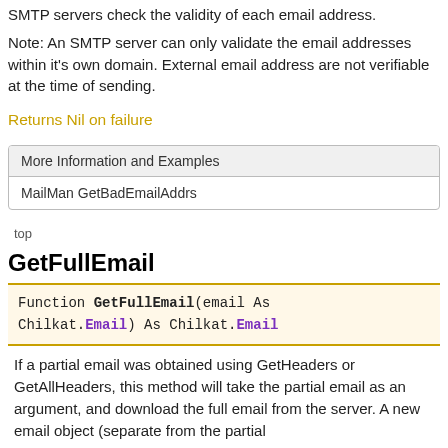SMTP servers check the validity of each email address.
Note: An SMTP server can only validate the email addresses within it's own domain. External email address are not verifiable at the time of sending.
Returns Nil on failure
| More Information and Examples |
| --- |
| MailMan GetBadEmailAddrs |
top
GetFullEmail
Function GetFullEmail(email As Chilkat.Email) As Chilkat.Email
If a partial email was obtained using GetHeaders or GetAllHeaders, this method will take the partial email as an argument, and download the full email from the server. A new email object (separate from the partial